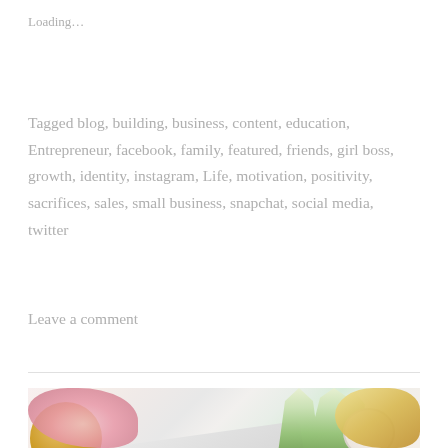Loading…
Tagged blog, building, business, content, education, Entrepreneur, facebook, family, featured, friends, girl boss, growth, identity, instagram, Life, motivation, positivity, sacrifices, sales, small business, snapchat, social media, twitter
Leave a comment
[Figure (photo): Styled flat-lay photo showing a gold coffee cup, open laptop/tablet, pink tulips, pink roses, white candle jar, and cookies on a marble surface.]